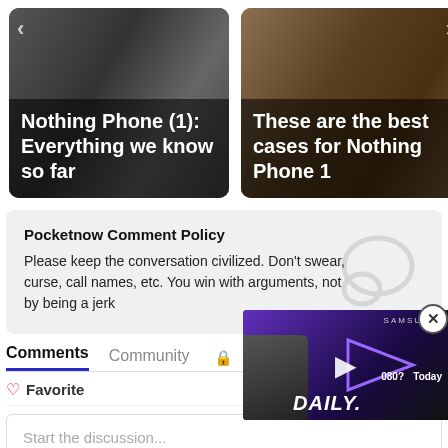[Figure (screenshot): Article card: Nothing Phone (1): Everything we know so far]
[Figure (screenshot): Article card: These are the best cases for Nothing Phone 1]
Pocketnow Comment Policy
Please keep the conversation civilized. Don't swear, curse, call names, etc. You win with arguments, not by being a jerk
Comments  Community
♡ Favorite   Sort by Newest
Start the discussion...
[Figure (screenshot): Video overlay showing DAILY. Samsung content with play button, person thumbnail, Today label, close button]